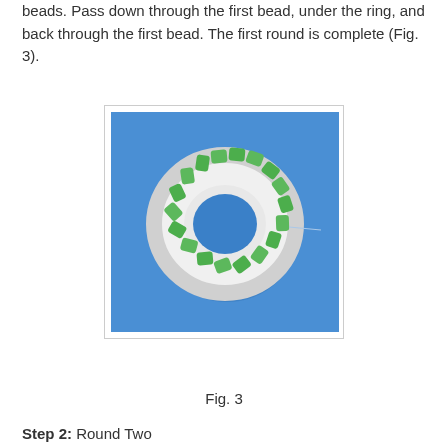beads. Pass down through the first bead, under the ring, and back through the first bead. The first round is complete (Fig. 3).
[Figure (photo): Photograph showing green beads arranged in a circle around a white toroidal ring on a blue background, demonstrating completion of the first round of bead weaving.]
Fig. 3
Step 2: Round Two